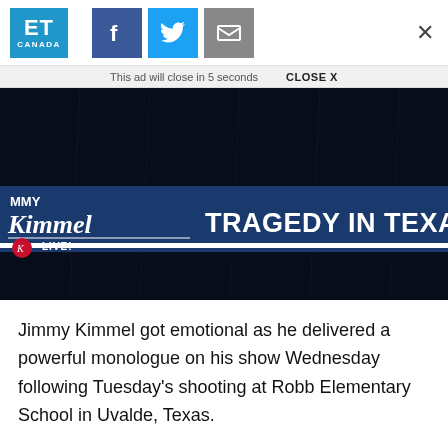ET Canada — social share bar with Facebook, Twitter, Email buttons and close X
This ad will close in 5 seconds   CLOSE X
[Figure (screenshot): Jimmy Kimmel Live! show graphic with text 'MMY Kimmel LIVE!' on the left and 'TRAGEDY IN TEXAS' in large white bold text on a dark blue banner over a dark background video still]
Jimmy Kimmel got emotional as he delivered a powerful monologue on his show Wednesday following Tuesday's shooting at Robb Elementary School in Uvalde, Texas.